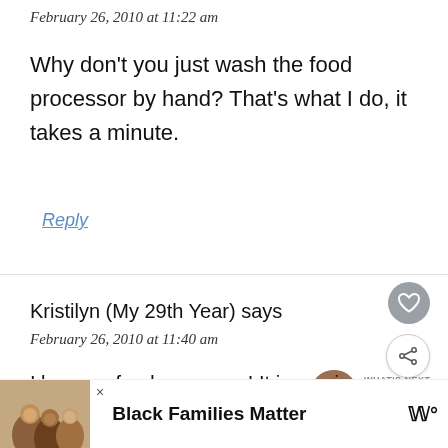February 26, 2010 at 11:22 am
Why don't you just wash the food processor by hand? That's what I do, it takes a minute.
Reply
Kristilyn (My 29th Year) says
February 26, 2010 at 11:40 am
I love my food processor! It is a pain to
[Figure (infographic): Advertisement banner: image of smiling people on left, text 'Black Families Matter' in bold, close button X, and a logo icon on the right]
[Figure (infographic): What's Next widget: circular thumbnail image with 'WHAT'S NEXT' label and text 'Noontime Nibbling']